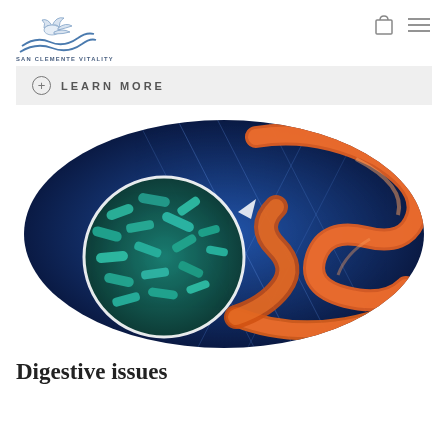SAN CLEMENTE VITALITY
LEARN MORE
[Figure (illustration): Medical illustration of digestive/gut anatomy showing orange-outlined intestines on a blue background, with a circular magnified inset showing teal-colored gut bacteria.]
Digestive issues